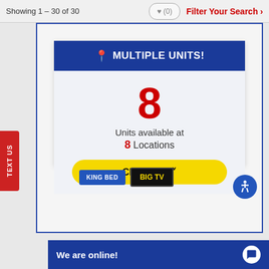Showing 1 – 30 of 30   ♥ (0)   Filter Your Search ›
TEXT US
📍 MULTIPLE UNITS!
8
Units available at
8 Locations
Click Here ›
KING BED
BIG TV
We are online!